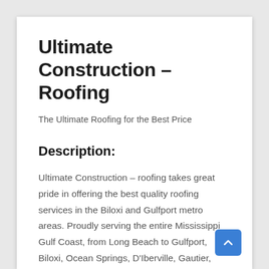Ultimate Construction – Roofing
The Ultimate Roofing for the Best Price
Description:
Ultimate Construction – roofing takes great pride in offering the best quality roofing services in the Biloxi and Gulfport metro areas. Proudly serving the entire Mississippi Gulf Coast, from Long Beach to Gulfport, Biloxi, Ocean Springs, D'Iberville, Gautier, Vancleave, and Pascagoula, we provide every type of roofing service you can ask for, residential and commercial alike. Whether you're a homeowner or a business owner we have years of experience ensuring your